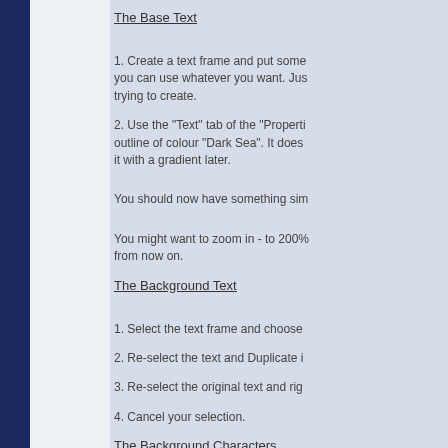The Base Text
1. Create a text frame and put some you can use whatever you want. Just trying to create.
2. Use the "Text" tab of the "Properti outline of colour "Dark Sea". It does it with a gradient later.
You should now have something sim
You might want to zoom in - to 200% from now on.
The Background Text
1. Select the text frame and choose
2. Re-select the text and Duplicate i
3. Re-select the original text and rig
4. Cancel your selection.
The Background Characters
1. Select the first character. In my ca
2. Go to the "Lines" tab of the "Prop